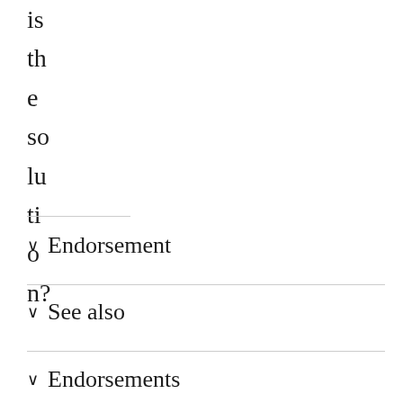is the solution?
Endorsement
See also
Endorsements